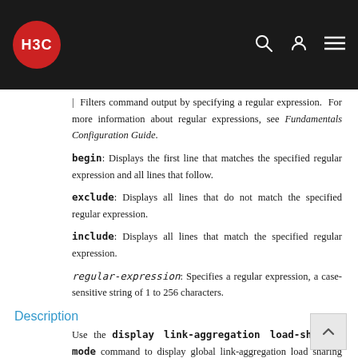H3C [logo] navigation bar
| Filters command output by specifying a regular expression. For more information about regular expressions, see Fundamentals Configuration Guide.
begin: Displays the first line that matches the specified regular expression and all lines that follow.
exclude: Displays all lines that do not match the specified regular expression.
include: Displays all lines that match the specified regular expression.
regular-expression: Specifies a regular expression, a case-sensitive string of 1 to 256 characters.
Description
Use the display link-aggregation load-sharing mode command to display global link-aggregation load sharing criterion or criteria.